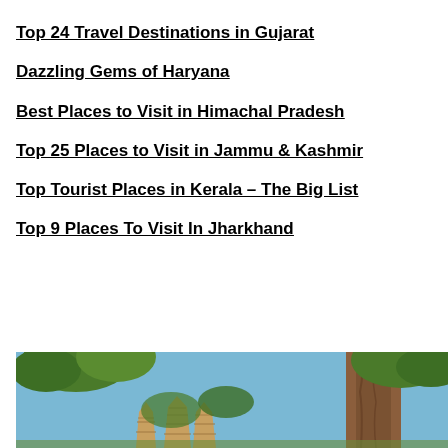Top 24 Travel Destinations in Gujarat
Dazzling Gems of Haryana
Best Places to Visit in Himachal Pradesh
Top 25 Places to Visit in Jammu & Kashmir
Top Tourist Places in Kerala – The Big List
Top 9 Places To Visit In Jharkhand
[Figure (photo): Outdoor scene showing ancient stepped temple spires (likely Jharkhand) with large tree trunks and green foliage against a blue sky]